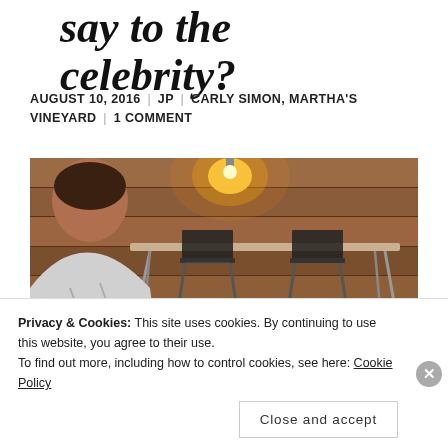say to the celebrity?
AUGUST 10, 2016 | JP | CARLY SIMON, MARTHA'S VINEYARD | 1 COMMENT
[Figure (photo): A person seen from behind (back of head and shoulders in plaid shirt) sitting in a wood-paneled room with folding chairs and a table, a warm light bulb above, and a small floral arrangement at bottom right.]
Privacy & Cookies: This site uses cookies. By continuing to use this website, you agree to their use.
To find out more, including how to control cookies, see here: Cookie Policy
Close and accept